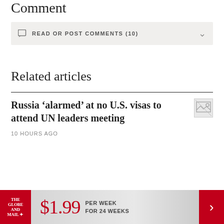Comment
READ OR POST COMMENTS (10)
Related articles
Russia ‘alarmed’ at no U.S. visas to attend UN leaders meeting
10 HOURS AGO
[Figure (other): Broken thumbnail image placeholder]
$1.99 PER WEEK FOR 24 WEEKS